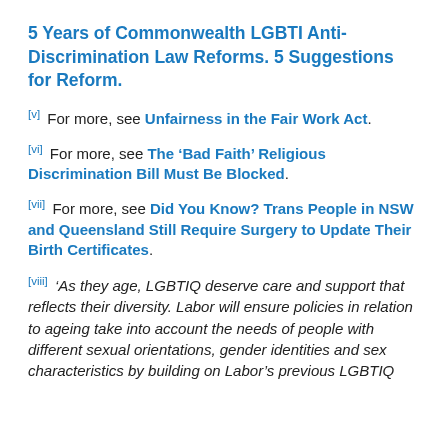5 Years of Commonwealth LGBTI Anti-Discrimination Law Reforms. 5 Suggestions for Reform.
[v] For more, see Unfairness in the Fair Work Act.
[vi] For more, see The ‘Bad Faith’ Religious Discrimination Bill Must Be Blocked.
[vii] For more, see Did You Know? Trans People in NSW and Queensland Still Require Surgery to Update Their Birth Certificates.
[viii] ‘As they age, LGBTIQ deserve care and support that reflects their diversity. Labor will ensure policies in relation to ageing take into account the needs of people with different sexual orientations, gender identities and sex characteristics by building on Labor’s previous LGBTIQ